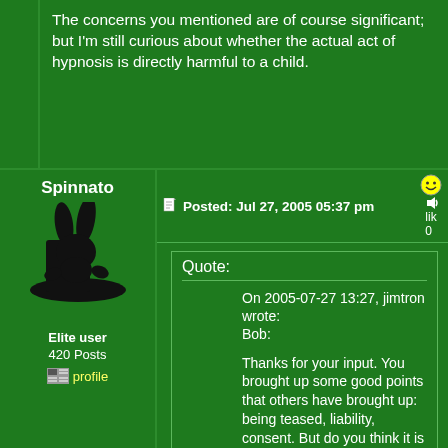The concerns you mentioned are of course significant; but I'm still curious about whether the actual act of hypnosis is directly harmful to a child.
Spinnato
[Figure (illustration): Black silhouette of a rabbit in a magician's top hat]
Elite user
420 Posts
profile
Posted: Jul 27, 2005 05:37 pm
like 0
Quote:
On 2005-07-27 13:27, jimtron wrote:
Bob:

Thanks for your input. You brought up some good points that others have brought up: being teased, liability, consent. But do you think it is inherently harmful to hypnotize kids, or just that there are potential peripheral concerns?

The concerns you